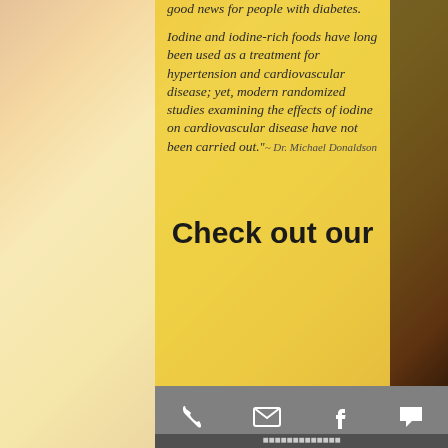good news for people with diabetes.
Iodine and iodine-rich foods have long been used as a treatment for hypertension and cardiovascular disease; yet, modern randomized studies examining the effects of iodine on cardiovascular disease have not been carried out." ~ Dr. Michael Donaldson
Check out our
[Figure (other): Mobile app toolbar with phone, email, Facebook, and chat icons on a gray background]